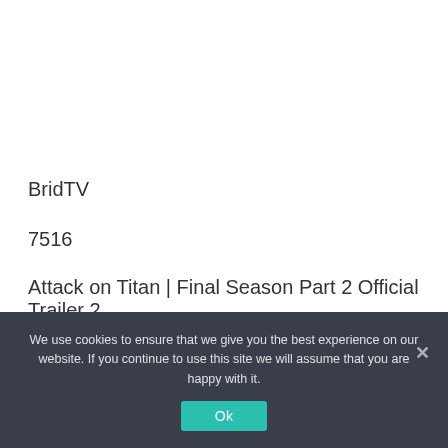BridTV
7516
Attack on Titan | Final Season Part 2 Official Trailer 2
We use cookies to ensure that we give you the best experience on our website. If you continue to use this site we will assume that you are happy with it.